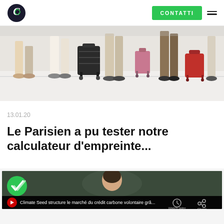Logo + CONTATTI navigation header
[Figure (photo): People with luggage/suitcases in an airport or train station, shot from leg level showing rolling suitcases and feet on light floor]
13.01.20
Le Parisien a pu tester notre calculateur d'empreinte...
[Figure (screenshot): Video thumbnail showing a woman speaking, with a green checkmark badge overlay and bottom bar reading 'Climate Seed structure le marché du crédit carbone volontaire grâ...' with Watch Later and Share buttons]